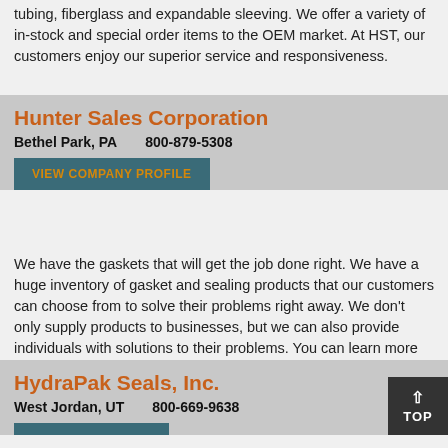tubing, fiberglass and expandable sleeving. We offer a variety of in-stock and special order items to the OEM market. At HST, our customers enjoy our superior service and responsiveness.
Hunter Sales Corporation
Bethel Park, PA    800-879-5308
VIEW COMPANY PROFILE
We have the gaskets that will get the job done right. We have a huge inventory of gasket and sealing products that our customers can choose from to solve their problems right away. We don't only supply products to businesses, but we can also provide individuals with solutions to their problems. You can learn more about us and what we do on our website, or call us today!
HydraPak Seals, Inc.
West Jordan, UT    800-669-9638